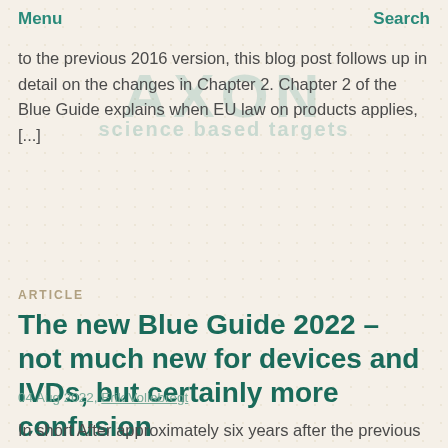Menu  Search
to the previous 2016 version, this blog post follows up in detail on the changes in Chapter 2. Chapter 2 of the Blue Guide explains when EU law on products applies, [...]
ARTICLE
The new Blue Guide 2022 – not much new for devices and IVDs, but certainly more confusion
04 Aug 2022, Erik Vollebregt
In short After approximately six years after the previous (2016) version of the Blue Guide the 2022 version finally 'dropped' on 29 June 2022 in the Official Journal edition C edition of that day